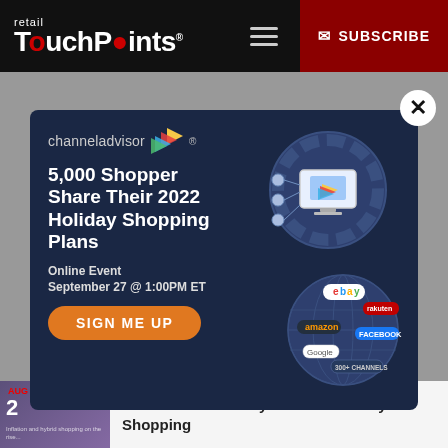retail TouchPoints® ☰ SUBSCRIBE
[Figure (infographic): ChannelAdvisor popup ad: '5,000 Shopper Share Their 2022 Holiday Shopping Plans', Online Event, September 27 @ 1:00PM ET, with SIGN ME UP button. Right side shows gear/globe graphic with marketplace logos (eBay, Amazon, Facebook, Google) and ChannelAdvisor arrow logo on a monitor.]
Enthusiasts 'Go Physical' for Holiday Shopping